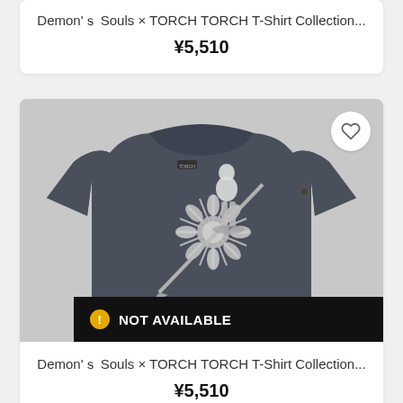Demon''s Souls × TORCH TORCH T-Shirt Collection...
¥5,510
[Figure (photo): Dark navy blue t-shirt with a white graphic print of a warrior/skeleton figure holding a large ornate weapon, displayed on a product listing card with a heart/wishlist button in the top right corner and a 'NOT AVAILABLE' black banner overlay at the bottom.]
Demon''s Souls × TORCH TORCH T-Shirt Collection...
¥5,510